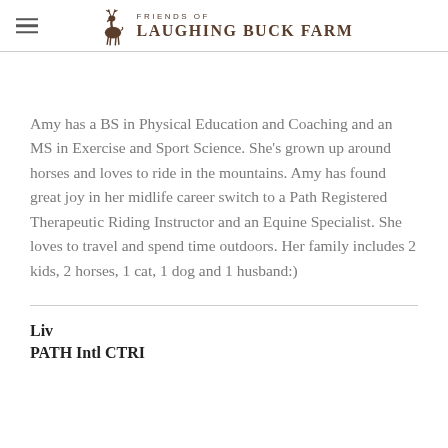Friends of Laughing Buck Farm
Amy has a BS in Physical Education and Coaching and an MS in Exercise and Sport Science. She's grown up around horses and loves to ride in the mountains. Amy has found great joy in her midlife career switch to a Path Registered Therapeutic Riding Instructor and an Equine Specialist. She loves to travel and spend time outdoors. Her family includes 2 kids, 2 horses, 1 cat, 1 dog and 1 husband:)
Liv
PATH Intl CTRI